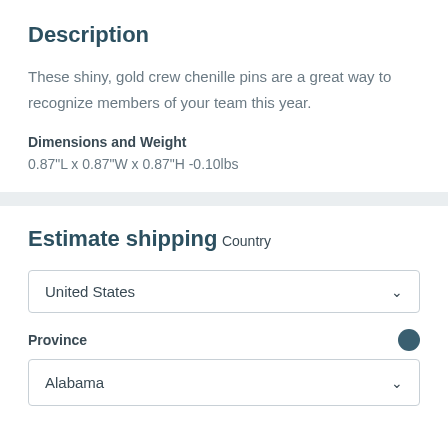Description
These shiny, gold crew chenille pins are a great way to recognize members of your team this year.
Dimensions and Weight
0.87"L x 0.87"W x 0.87"H -0.10lbs
Estimate shipping
Country
United States
Province
Alabama